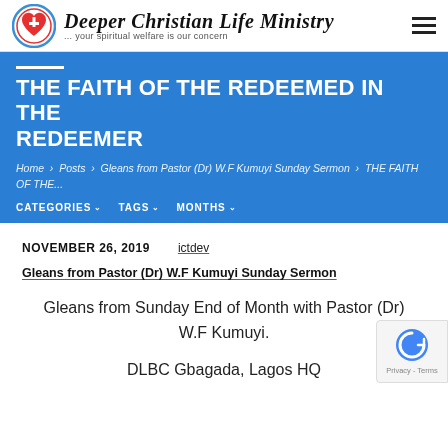Deeper Christian Life Ministry — ... your spiritual welfare is our concern
THE FAITH OF THE REDEEMED IN THE REDEEMER
Home > Posts > Gleans from Pastor (Dr) W.F Kumuyi Sunday Sermon > THE FAITH OF THE...
CATEGORIES  TAGS  MONTHS
NOVEMBER 26, 2019    ictdev
Gleans from Pastor (Dr) W.F Kumuyi Sunday Sermon
Gleans from Sunday End of Month with Pastor (Dr) W.F Kumuyi.
DLBC Gbagada, Lagos HQ